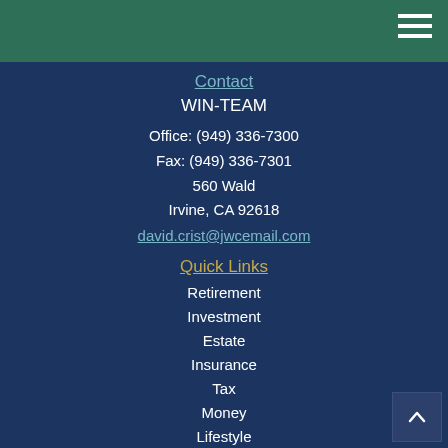Contact
WIN-TEAM
Office: (949) 336-7300
Fax: (949) 336-7301
560 Wald
Irvine, CA 92618
david.crist@jwcemail.com
Quick Links
Retirement
Investment
Estate
Insurance
Tax
Money
Lifestyle
All Articles
All Videos